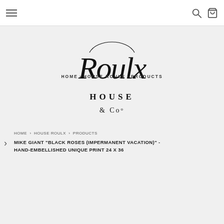Navigation bar with hamburger menu, search icon, and cart icon
[Figure (logo): House Roulx & Co scripted logo in black calligraphic font]
HOME > HOUSE ROULX > PRODUCTS
MIKE GIANT "BLACK ROSES (IMPERMANENT VACATION)" - HAND-EMBELLISHED UNIQUE PRINT 24 X 36